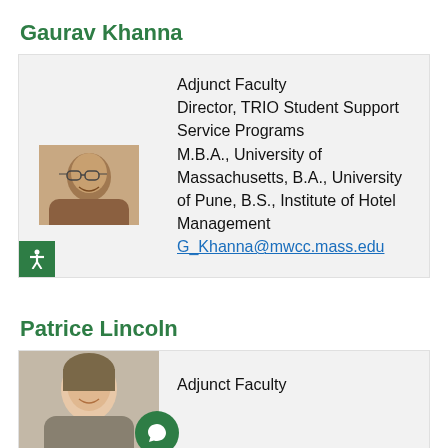Gaurav Khanna
Adjunct Faculty
Director, TRIO Student Support Service Programs
M.B.A., University of Massachusetts, B.A., University of Pune, B.S., Institute of Hotel Management
G_Khanna@mwcc.mass.edu
Patrice Lincoln
Adjunct Faculty